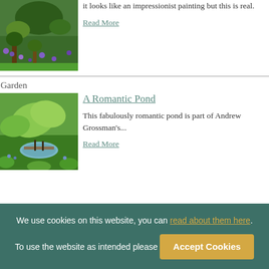[Figure (photo): Lush impressionist-style garden with colorful flowers and green foliage]
it looks like an impressionist painting but this is real.
Read More
Garden
A Romantic Pond
[Figure (photo): Romantic garden pond scene with large leaves and lush green plants]
This fabulously romantic pond is part of Andrew Grossman's...
Read More
We use cookies on this website, you can read about them here. To use the website as intended please Accept Cookies